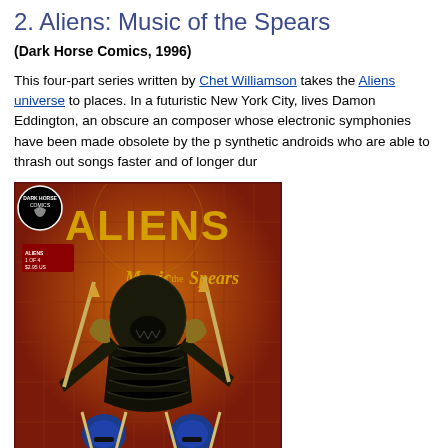2. Aliens: Music of the Spears
(Dark Horse Comics, 1996)
This four-part series written by Chet Williamson takes the Aliens universe to places. In a futuristic New York City, lives Damon Eddington, an obscure and composer whose electronic symphonies have been made obsolete by the p synthetic androids who are able to thrash out songs faster and of longer dur
[Figure (illustration): Comic book cover of Aliens: Music of the Spears #1 of 4, published by Dark Horse Comics. Features a large alien creature holding spears over two blue-skinned humanoid figures. Title text in yellow reads ALIENS: MUSIC OF THE SPEARS.]